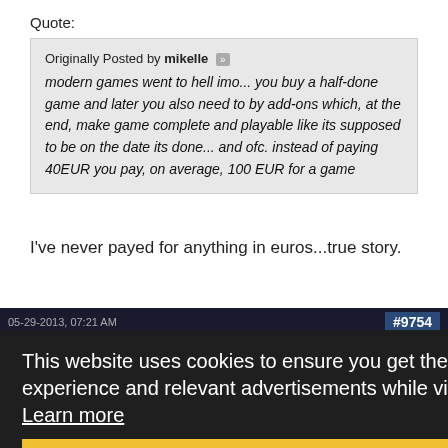Quote:
Originally Posted by mikelle
modern games went to hell imo... you buy a half-done game and later you also need to by add-ons which, at the end, make game complete and playable like its supposed to be on the date its done... and ofc. instead of paying 40EUR you pay, on average, 100 EUR for a game
I've never payed for anything in euros...true story.
05-29-2013, 07:21 AM
#9754
[Figure (photo): User avatar thumbnail - dark silhouette image]
Low Content
I feel incomplete.
This website uses cookies to ensure you get the best experience and relevant advertisements while visiting.  Learn more
Got it!
Thanks, mikelle. My whole day is now going to be pointless.